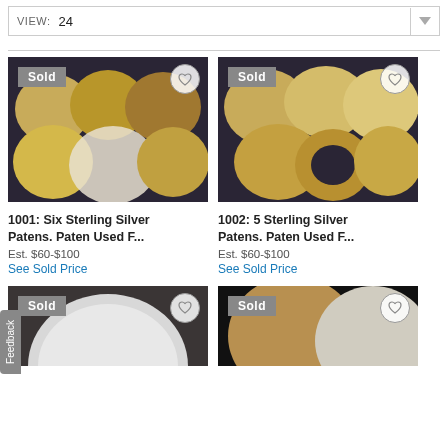VIEW: 24
[Figure (photo): Six gold/silver circular patens on dark background with Sold badge]
1001: Six Sterling Silver Patens. Paten Used F...
Est. $60-$100
See Sold Price
[Figure (photo): Five gold circular patens on dark background with Sold badge]
1002: 5 Sterling Silver Patens. Paten Used F...
Est. $60-$100
See Sold Price
[Figure (photo): Silver circular paten partial view with Sold badge]
[Figure (photo): Tan and silver circular items partial view with Sold badge]